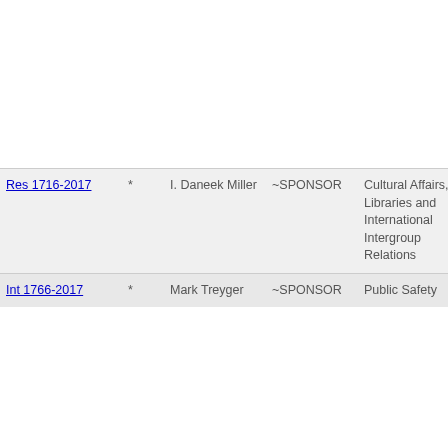| Res 1716-2017 | * | I. Daneek Miller | ~SPONSOR | Cultural Affairs, Libraries and International Intergroup Relations | UN Sec urge the Myanm cease h Rohingy permit t refugees |
| Int 1766-2017 | * | Mark Treyger | ~SPONSOR | Public Safety | Prohibit between officers their cu |